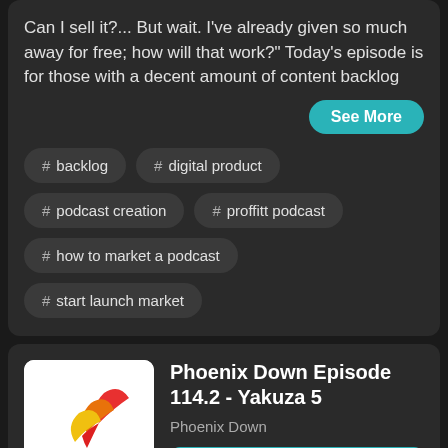Can I sell it?... But wait. I've already given so much away for free; how will that work?" Today's episode is for those with a decent amount of content backlog
See More
# backlog
# digital product
# podcast creation
# proffitt podcast
# how to market a podcast
# start launch market
[Figure (logo): Phoenix Down podcast logo with colorful feather graphic and text 'ZTGD PRESENTS PHOENIXDOWN']
Phoenix Down Episode 114.2 - Yakuza 5
Phoenix Down
Play Episode